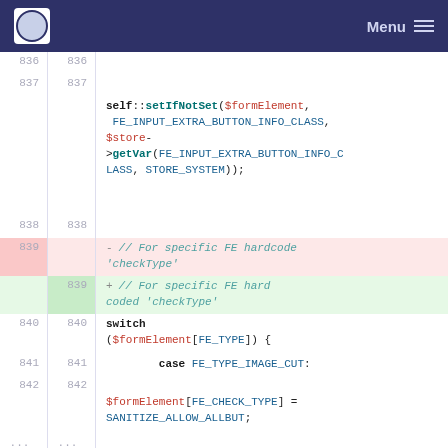Menu
[Figure (screenshot): Code diff view showing PHP code with line numbers. Lines 836-842 shown with one deleted line (839) and one added line (839). Code includes self::setIfNotSet(), switch statement, case FE_TYPE_IMAGE_CUT, and $formElement[FE_CHECK_TYPE] = SANITIZE_ALLOW_ALLBUT;]